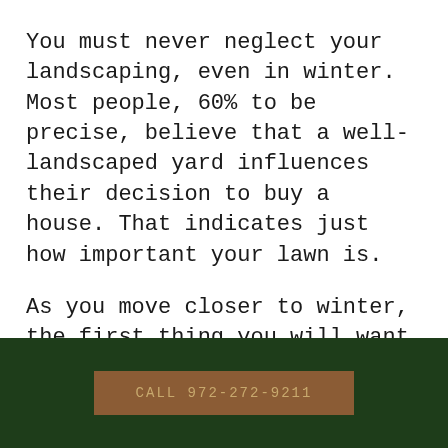You must never neglect your landscaping, even in winter. Most people, 60% to be precise, believe that a well-landscaped yard influences their decision to buy a house. That indicates just how important your lawn is.
As you move closer to winter, the first thing you will want to do is gradually lower your cutting deck. This will enable you to lower the height of your lawn in preparation for winter. If your lawn height is too tall, it might end up
CALL 972-272-9211